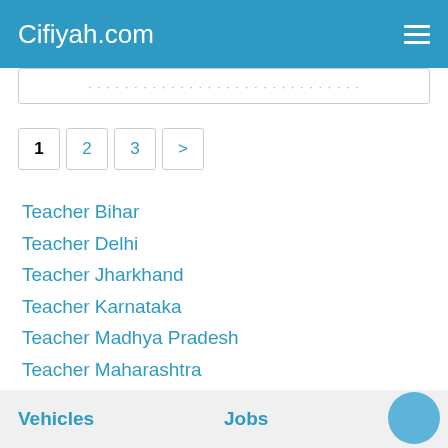Cifiyah.com
1
2
3
>
Teacher Bihar
Teacher Delhi
Teacher Jharkhand
Teacher Karnataka
Teacher Madhya Pradesh
Teacher Maharashtra
Teacher Orissa
Teacher Rajasthan
Teacher Tamil Nadu
Teacher Uttar Pradesh
Teacher West Bengal
Vehicles   Jobs